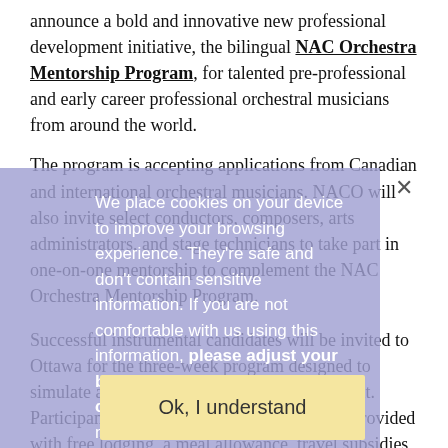announce a bold and innovative new professional development initiative, the bilingual NAC Orchestra Mentorship Program, for talented pre-professional and early career professional orchestral musicians from around the world.
The program is accepting applications from Canadian and international orchestral musicians. NACO will also invite select conductors, composers, arts administrators, and stage technicians to take part in one-on-one mentorship to complement the NAC Orchestra Mentorship Program.
Successful instrumental candidates will be invited to Ottawa for the three-week program designed to simulate a real working orchestral environment. Participants accepted to the program will be provided with free lodging, a meal allowance, travel subsidies and an honorarium.
[Figure (other): Cookie consent overlay with text: We place cookies on your device to improve your browsing experience. They're safe and don't contain sensitive information. If you are not comfortable with us using this information, please adjust your browser settings before continuing your visit. Learn more about how the NAC protects your privacy. With a close X button and an 'Ok, I understand' yellow button.]
"Creative partnerships are part of the NAC Orchestra's DNA and